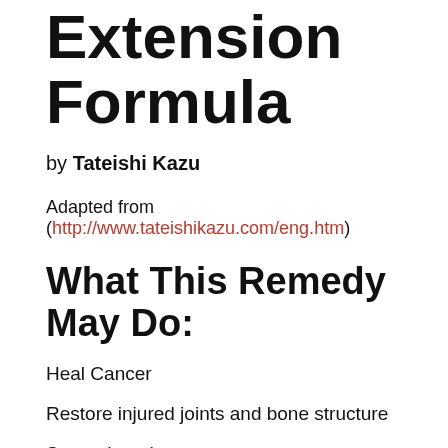Herbal Life Extension Formula
by Tateishi Kazu
Adapted from (http://www.tateishikazu.com/eng.htm)
What This Remedy May Do:
Heal Cancer
Restore injured joints and bone structure
Strengthen the...